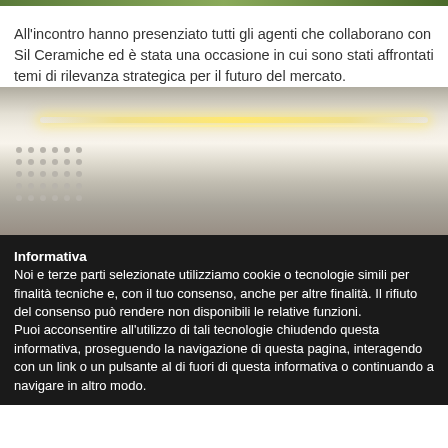[Figure (photo): Partial top strip showing green foliage/plant image at the very top of the page]
All'incontro hanno presenziato tutti gli agenti che collaborano con Sil Ceramiche ed è stata una occasione in cui sono stati affrontati temi di rilevanza strategica per il futuro del mercato.
[Figure (photo): Interior photo showing a modern room with ceiling, recessed lighting strip emitting warm yellow light, a dotted wall panel on the left, and a bright background.]
Informativa
Noi e terze parti selezionate utilizziamo cookie o tecnologie simili per finalità tecniche e, con il tuo consenso, anche per altre finalità. Il rifiuto del consenso può rendere non disponibili le relative funzioni.
Puoi acconsentire all'utilizzo di tali tecnologie chiudendo questa informativa, proseguendo la navigazione di questa pagina, interagendo con un link o un pulsante al di fuori di questa informativa o continuando a navigare in altro modo.